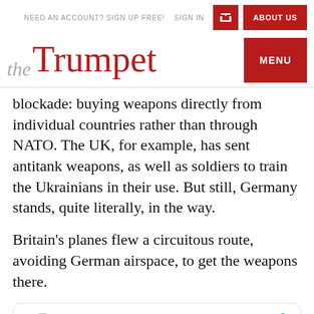NEED AN ACCOUNT? SIGN UP FREE!   SIGN IN   ABOUT US
the Trumpet
blockade: buying weapons directly from individual countries rather than through NATO. The UK, for example, has sent antitank weapons, as well as soldiers to train the Ukrainians in their use. But still, Germany stands, quite literally, in the way.
Britain's planes flew a circuitous route, avoiding German airspace, to get the weapons there.
[Figure (screenshot): Embedded tweet from Tobias Ellwood MP (@Tobias_Ellwood) with Follow button and Twitter bird icon]